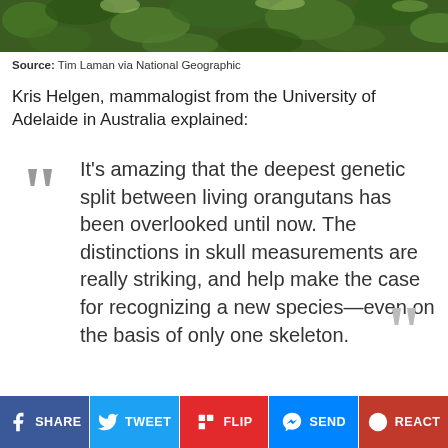[Figure (photo): Treetop/forest canopy photo, green foliage]
Source: Tim Laman via National Geographic
Kris Helgen, mammalogist from the University of Adelaide in Australia explained:
It’s amazing that the deepest genetic split between living orangutans has been overlooked until now. The distinctions in skull measurements are really striking, and help make the case for recognizing a new species—even on the basis of only one skeleton.
SHARE  TWEET  FLIP  SEND  REACT